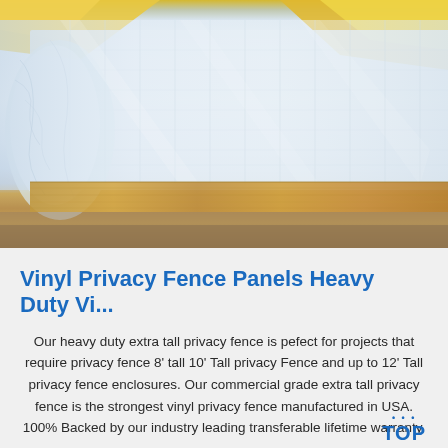[Figure (photo): Photo of stacked clear/translucent vinyl fence panels or sheets wrapped in plastic, resting on a wooden surface. Yellow packaging material visible in the upper corners. The panels appear glossy and layered.]
Vinyl Privacy Fence Panels Heavy Duty Vi...
Our heavy duty extra tall privacy fence is pefect for projects that require privacy fence 8' tall 10' Tall privacy Fence and up to 12' Tall privacy fence enclosures. Our commercial grade extra tall privacy fence is the strongest vinyl privacy fence manufactured in USA. 100% Backed by our industry leading transferable lifetime warranty.